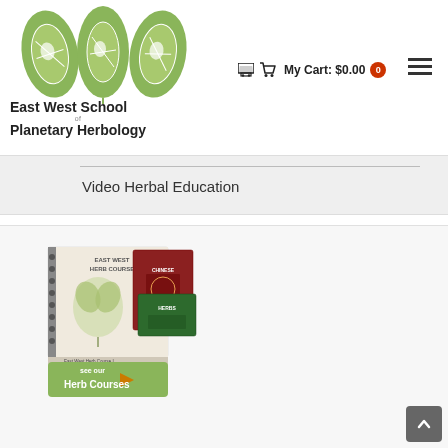[Figure (logo): East West School of Planetary Herbology logo with three green leaf shapes containing globe illustrations]
My Cart: $0.00  0
Video Herbal Education
[Figure (illustration): East West Herb Course banner advertisement with herb course books and 'see our Herb Courses' call to action button]